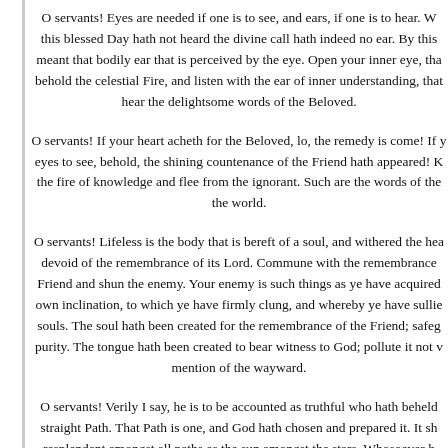O servants! Eyes are needed if one is to see, and ears, if one is to hear. W... this blessed Day hath not heard the divine call hath indeed no ear. By this meant that bodily ear that is perceived by the eye. Open your inner eye, tha... behold the celestial Fire, and listen with the ear of inner understanding, that hear the delightsome words of the Beloved.
O servants! If your heart acheth for the Beloved, lo, the remedy is come! If ... eyes to see, behold, the shining countenance of the Friend hath appeared! K... the fire of knowledge and flee from the ignorant. Such are the words of the the world.
O servants! Lifeless is the body that is bereft of a soul, and withered the hea... devoid of the remembrance of its Lord. Commune with the remembrance... Friend and shun the enemy. Your enemy is such things as ye have acquired own inclination, to which ye have firmly clung, and whereby ye have sullie souls. The soul hath been created for the remembrance of the Friend; safeg... purity. The tongue hath been created to bear witness to God; pollute it not ... mention of the wayward.
O servants! Verily I say, he is to be accounted as truthful who hath behel... straight Path. That Path is one, and God hath chosen and prepared it. It sh... resplendent amongst all paths as the sun amongst the stars. Whosoever h... attained it hath failed to apprehend the truth and hath gone astray. Such a... counsels of the incomparable, the peerless Lord.
O servants! This nether world is the abode of demons: Guard yourselves... approaching them. By demons is meant those wayward souls who, with the... of their evil deeds, slumber in the chambers of oblivion. Their sleep is profo...